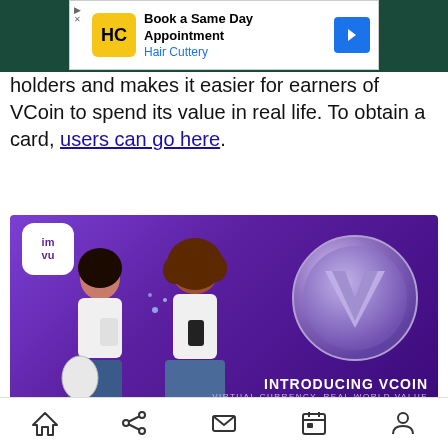[Figure (other): Advertisement banner: Hair Cuttery - Book a Same Day Appointment]
holders and makes it easier for earners of VCoin to spend its value in real life. To obtain a card, users can go here.
[Figure (photo): VCoin promotional image with purple background, two women using phones, a large silver VCoin coin, IMVU logo, text: INTRODUCING VCOIN - VIRTUAL CURRENCY, REAL WORLD VALUE]
Above: VCoin is one of Together Labs' efforts.
Image Credit: Together Labs